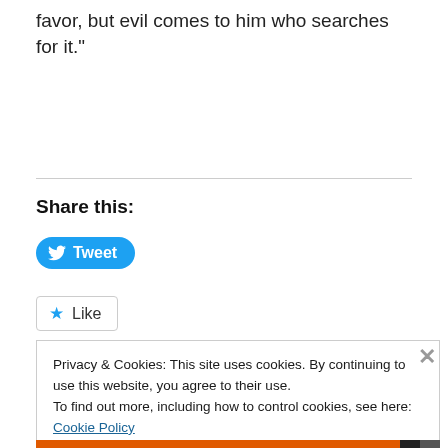favor, but evil comes to him who searches for it."
Share this:
[Figure (other): Tweet button with Twitter bird icon]
[Figure (other): Like button with star icon]
Privacy & Cookies: This site uses cookies. By continuing to use this website, you agree to their use.
To find out more, including how to control cookies, see here: Cookie Policy
Close and accept